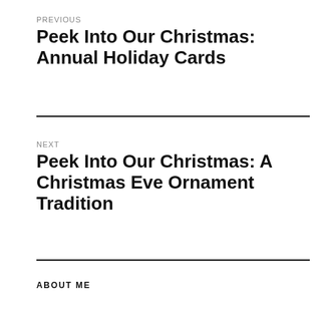PREVIOUS
Peek Into Our Christmas: Annual Holiday Cards
NEXT
Peek Into Our Christmas: A Christmas Eve Ornament Tradition
ABOUT ME